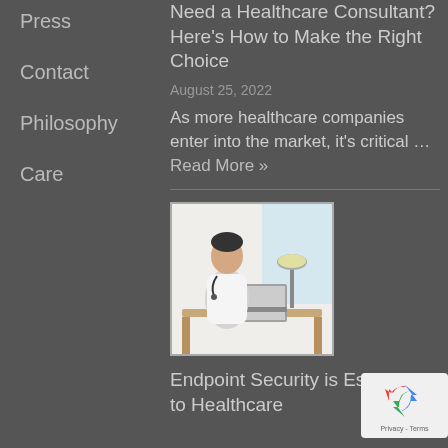Press
Contact
Philosophy
Care
Need a Healthcare Consultant? Here's How to Make the Right Choice
August 25, 2022
As more healthcare companies enter into the market, it's critical … Read More »
[Figure (photo): Doctor in white coat sitting at a desk with a laptop, stethoscope around neck, lamp in background]
Endpoint Security is Essential to Healthcare